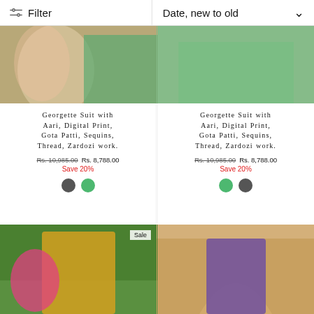[Figure (photo): Top left: partial view of a green floral georgette suit with filter bar overlay]
[Figure (screenshot): Filter bar with filter icon and 'Date, new to old' sort dropdown]
[Figure (photo): Top right: partial view of a green floral georgette suit]
Georgette Suit with Aari, Digital Print, Gota Patti, Sequins, Thread, Zardozi work.
Rs. 10,985.00 Rs. 8,788.00
Save 20%
Georgette Suit with Aari, Digital Print, Gota Patti, Sequins, Thread, Zardozi work.
Rs. 10,985.00 Rs. 8,788.00
Save 20%
[Figure (photo): Bottom left: woman in yellow kurti with pink dupatta, Sale badge, outdoor setting]
[Figure (photo): Bottom right: woman in purple kurti, seated under arched doorway]